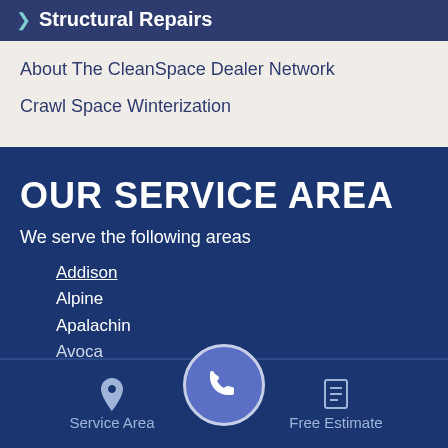Structural Repairs
About The CleanSpace Dealer Network
Crawl Space Winterization
OUR SERVICE AREA
We serve the following areas
Addison
Alpine
Apalachin
Avoca
Service Area
Free Estimate